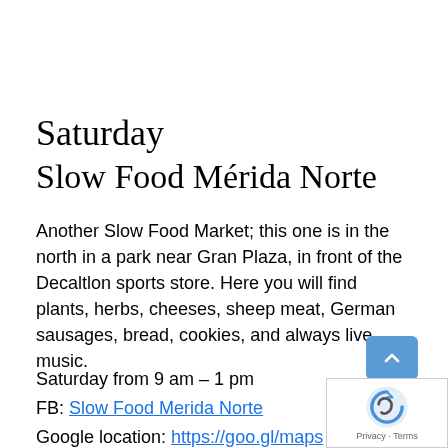Saturday
Slow Food Mérida Norte
Another Slow Food Market; this one is in the north in a park near Gran Plaza, in front of the Decaltlon sports store. Here you will find plants, herbs, cheeses, sheep meat, German sausages, bread, cookies, and always live music.
Saturday from 9 am – 1 pm
FB: Slow Food Merida Norte
Google location: https://goo.gl/maps